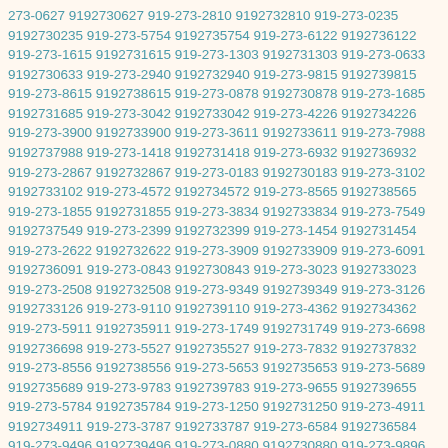273-0627 9192730627 919-273-2810 9192732810 919-273-0235 9192730235 919-273-5754 9192735754 919-273-6122 9192736122 919-273-1615 9192731615 919-273-1303 9192731303 919-273-0633 9192730633 919-273-2940 9192732940 919-273-9815 9192739815 919-273-8615 9192738615 919-273-0878 9192730878 919-273-1685 9192731685 919-273-3042 9192733042 919-273-4226 9192734226 919-273-3900 9192733900 919-273-3611 9192733611 919-273-7988 9192737988 919-273-1418 9192731418 919-273-6932 9192736932 919-273-2867 9192732867 919-273-0183 9192730183 919-273-3102 9192733102 919-273-4572 9192734572 919-273-8565 9192738565 919-273-1855 9192731855 919-273-3834 9192733834 919-273-7549 9192737549 919-273-2399 9192732399 919-273-1454 9192731454 919-273-2622 9192732622 919-273-3909 9192733909 919-273-6091 9192736091 919-273-0843 9192730843 919-273-3023 9192733023 919-273-2508 9192732508 919-273-9349 9192739349 919-273-3126 9192733126 919-273-9110 9192739110 919-273-4362 9192734362 919-273-5911 9192735911 919-273-1749 9192731749 919-273-6698 9192736698 919-273-5527 9192735527 919-273-7832 9192737832 919-273-8556 9192738556 919-273-5653 9192735653 919-273-5689 9192735689 919-273-9783 9192739783 919-273-9655 9192739655 919-273-5784 9192735784 919-273-1250 9192731250 919-273-4911 9192734911 919-273-3787 9192733787 919-273-6584 9192736584 919-273-9496 9192739496 919-273-0880 9192730880 919-273-9896 9192739896 919-273-0221 9192730221 919-273-8581 9192738581 919-273-4666 9192734666 919-273-8392 9192738392 919-273-0891 9192730891 919-273-5274 9192735274 919-273-8895 9192738895 919-273-5445 9192735445 919-273-0874 9192730874 919-273-0380